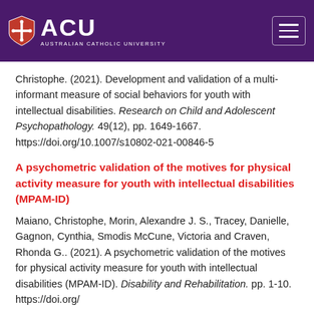ACU Australian Catholic University
Christophe. (2021). Development and validation of a multi-informant measure of social behaviors for youth with intellectual disabilities. Research on Child and Adolescent Psychopathology. 49(12), pp. 1649-1667. https://doi.org/10.1007/s10802-021-00846-5
A psychometric validation of the motives for physical activity measure for youth with intellectual disabilities (MPAM-ID)
Maiano, Christophe, Morin, Alexandre J. S., Tracey, Danielle, Gagnon, Cynthia, Smodis McCune, Victoria and Craven, Rhonda G.. (2021). A psychometric validation of the motives for physical activity measure for youth with intellectual disabilities (MPAM-ID). Disability and Rehabilitation. pp. 1-10. https://doi.org/